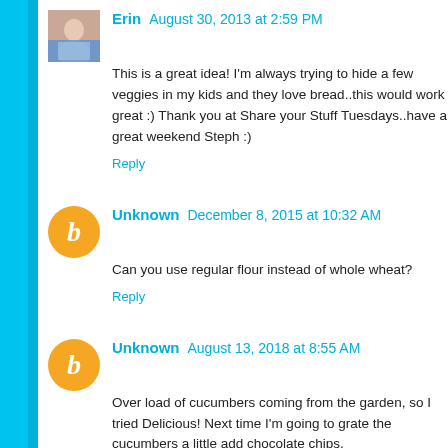Erin   August 30, 2013 at 2:59 PM
This is a great idea! I'm always trying to hide a few veggies in my kids and they love bread..this would work great :) Thank you at Share your Stuff Tuesdays..have a great weekend Steph :)
Reply
Unknown   December 8, 2015 at 10:32 AM
Can you use regular flour instead of whole wheat?
Reply
Unknown   August 13, 2018 at 8:55 AM
Over load of cucumbers coming from the garden, so I tried Delicious! Next time I'm going to grate the cucumbers a little add chocolate chips.
Reply
Unknown   February 16, 2022 at 3:16 PM
Delicious! Great recipe!